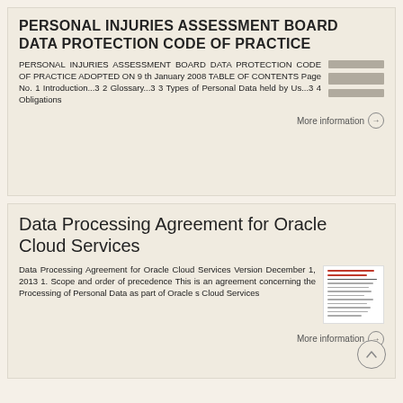PERSONAL INJURIES ASSESSMENT BOARD DATA PROTECTION CODE OF PRACTICE
PERSONAL INJURIES ASSESSMENT BOARD DATA PROTECTION CODE OF PRACTICE ADOPTED ON 9 th January 2008 TABLE OF CONTENTS Page No. 1 Introduction...3 2 Glossary...3 3 Types of Personal Data held by Us...3 4 Obligations
More information →
Data Processing Agreement for Oracle Cloud Services
Data Processing Agreement for Oracle Cloud Services Version December 1, 2013 1. Scope and order of precedence This is an agreement concerning the Processing of Personal Data as part of Oracle s Cloud Services
More information →